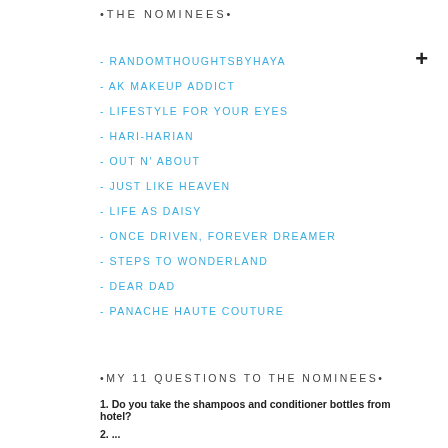•THE NOMINEES•
- RANDOMTHOUGHTSBYHAYA
- AK MAKEUP ADDICT
- LIFESTYLE FOR YOUR EYES
- HARI-HARIAN
- OUT N' ABOUT
- JUST LIKE HEAVEN
- LIFE AS DAISY
- ONCE DRIVEN, FOREVER DREAMER
- STEPS TO WONDERLAND
- DEAR DAD
- PANACHE HAUTE COUTURE
•MY 11 QUESTIONS TO THE NOMINEES•
1. Do you take the shampoos and conditioner bottles from hotel?
2. ...